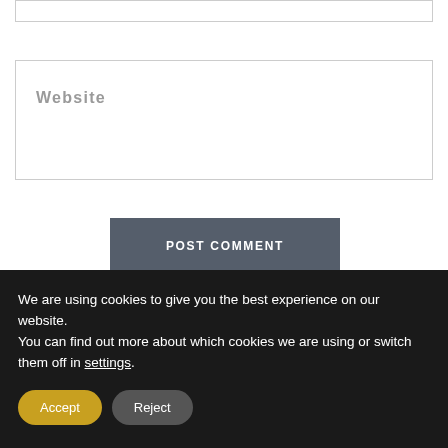Website
POST COMMENT
We are using cookies to give you the best experience on our website.
You can find out more about which cookies we are using or switch them off in settings.
Accept
Reject